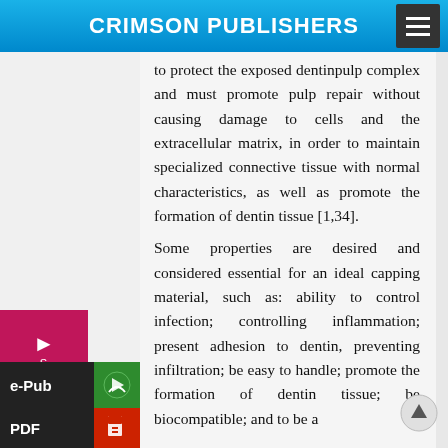CRIMSON PUBLISHERS
to protect the exposed dentinpulp complex and must promote pulp repair without causing damage to cells and the extracellular matrix, in order to maintain specialized connective tissue with normal characteristics, as well as promote the formation of dentin tissue [1,34].
Some properties are desired and considered essential for an ideal capping material, such as: ability to control infection; controlling inflammation; present adhesion to dentin, preventing infiltration; be easy to handle; promote the formation of dentin tissue; be biocompatible; and to be a